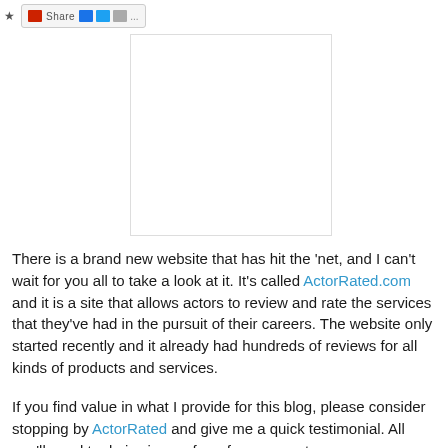Share [toolbar icons]
[Figure (other): White rectangular advertisement or image placeholder with light border, centered on page]
There is a brand new website that has hit the 'net, and I can't wait for you all to take a look at it. It's called ActorRated.com and it is a site that allows actors to review and rate the services that they've had in the pursuit of their careers. The website only started recently and it already had hundreds of reviews for all kinds of products and services.
If you find value in what I provide for this blog, please consider stopping by ActorRated and give me a quick testimonial. All you'll need to do is sign up for a free account